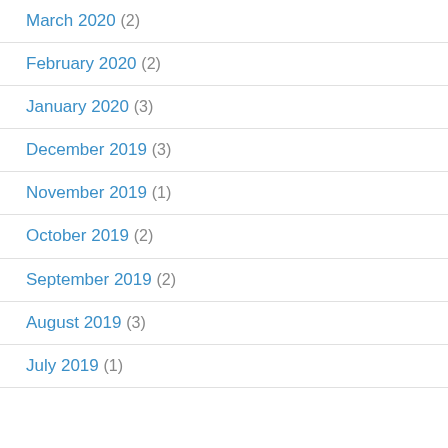March 2020 (2)
February 2020 (2)
January 2020 (3)
December 2019 (3)
November 2019 (1)
October 2019 (2)
September 2019 (2)
August 2019 (3)
July 2019 (1)